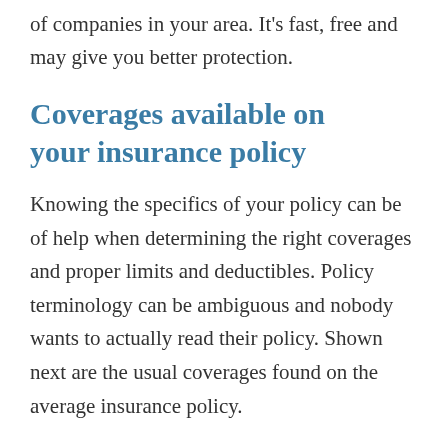of companies in your area. It's fast, free and may give you better protection.
Coverages available on your insurance policy
Knowing the specifics of your policy can be of help when determining the right coverages and proper limits and deductibles. Policy terminology can be ambiguous and nobody wants to actually read their policy. Shown next are the usual coverages found on the average insurance policy.
Collision insurance